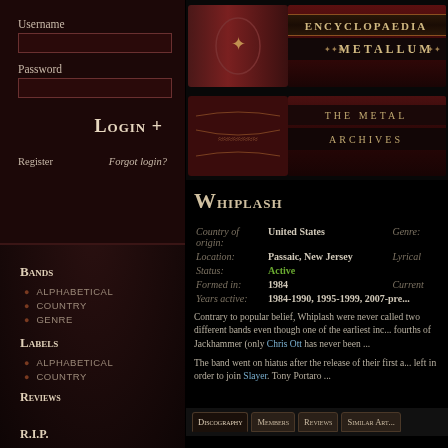Username
Password
Login +
Register    Forgot login?
Bands
Alphabetical
Country
Genre
Labels
Alphabetical
Country
Reviews
R.I.P.
Random Band
User Rankings
News Archive
[Figure (illustration): Encyclopaedia Metallum – The Metal Archives banner/logo with ornate book design]
Whiplash
| Field | Value | Field2 |
| --- | --- | --- |
| Country of origin: | United States | Genre: |
| Location: | Passaic, New Jersey | Lyrical |
| Status: | Active |  |
| Formed in: | 1984 | Current |
| Years active: | 1984-1990, 1995-1999, 2007-pre... |  |
Contrary to popular belief, Whiplash were never called two different bands even though one of the earliest inc... fourths of Jackhammer (only Chris Ott has never been ...
The band went on hiatus after the release of their first a... left in order to join Slayer. Tony Portaro ...
Discography   Members   Reviews   Similar Art...